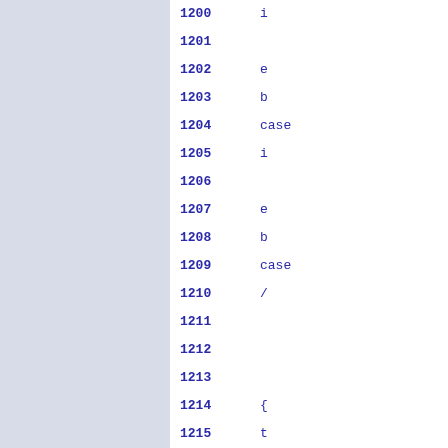[Figure (screenshot): Source code viewer showing line numbers 1200-1215 with partial code content visible on the right side. Left panel is gray/blue, right panel is white with blue monospace text.]
1200
1201
1202  e
1203  b
1204  case
1205  i
1206
1207  e
1208  b
1209  case
1210  /
1211
1212
1213
1214  {
1215  t